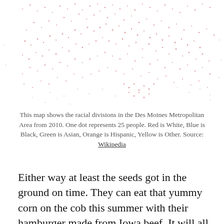[Figure (map): A dot-density map showing racial divisions in the Des Moines Metropolitan Area from 2010. Dots are predominantly red (White) scattered across the map area, with sparse clustering patterns visible.]
This map shows the racial divisions in the Des Moines Metropolitan Area from 2010. One dot represents 25 people. Red is White, Blue is Black, Green is Asian, Orange is Hispanic, Yellow is Other. Source: Wikipedia
Either way at least the seeds got in the ground on time. They can eat that yummy corn on the cob this summer with their hamburger made from Iowa beef. It will all take place on a grassy lawn that once grew the corn